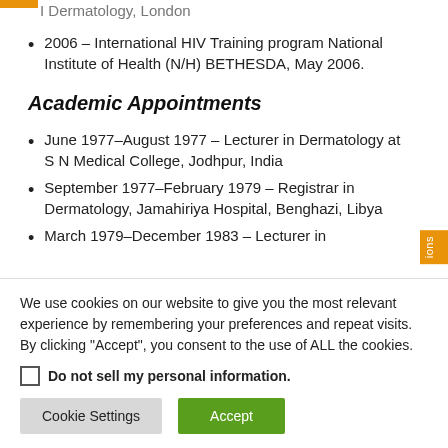I Dermatology, London
2006 – International HIV Training program National Institute of Health (N/H) BETHESDA, May 2006.
Academic Appointments
June 1977–August 1977 – Lecturer in Dermatology at S N Medical College, Jodhpur, India
September 1977–February 1979 – Registrar in Dermatology, Jamahiriya Hospital, Benghazi, Libya
March 1979–December 1983 – Lecturer in
We use cookies on our website to give you the most relevant experience by remembering your preferences and repeat visits. By clicking "Accept", you consent to the use of ALL the cookies.
Do not sell my personal information.